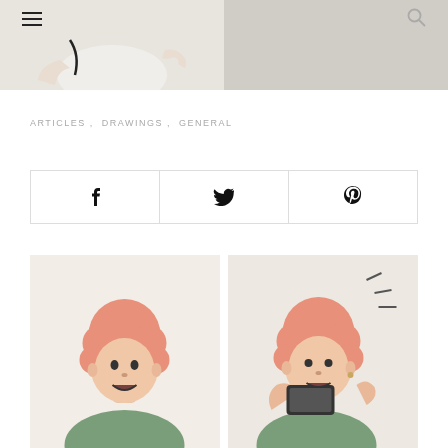Navigation menu and search icon
[Figure (illustration): Top cropped illustration strip showing two panels: left panel with partial cartoon figure (white shirt, black cord/wire visible, pointing hand), right panel with grey/light background]
ARTICLES,  DRAWINGS,  GENERAL
[Figure (infographic): Share bar with three cells: Facebook icon (f), Twitter bird icon, Pinterest pin icon]
[Figure (illustration): Bottom left illustration: cartoon character with pink/orange curly hair, surprised/open-mouthed expression, wearing green top, facing forward]
[Figure (illustration): Bottom right illustration: same cartoon character with pink/orange curly hair looking at/holding a dark smartphone, with motion lines indicating buzzing/vibration, wearing green top]